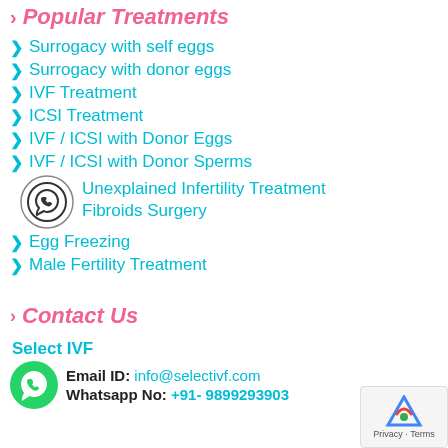Popular Treatments
Surrogacy with self eggs
Surrogacy with donor eggs
IVF Treatment
ICSI Treatment
IVF / ICSI with Donor Eggs
IVF / ICSI with Donor Sperms
Unexplained Infertility Treatment
Fibroids Surgery
Egg Freezing
Male Fertility Treatment
Contact Us
Select IVF
Email ID: info@selectivf.com
Whatsapp No: +91- 9899293903